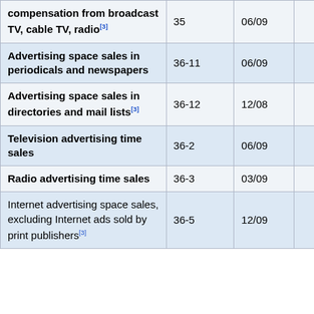|  | Code | Date | Col1 | Col2 | Col3 |
| --- | --- | --- | --- | --- | --- |
| compensation from broadcast TV, cable TV, radio[3] | 35 | 06/09 | 137.2 | 138.3 | 13... |
| Advertising space sales in periodicals and newspapers | 36-11 | 06/09 | 104.7 | 104.7 | 10... |
| Advertising space sales in directories and mail lists[3] | 36-12 | 12/08 | 100.6 | 100.6 | 10... |
| Television advertising time sales | 36-2 | 06/09 | 109.0 | 109.3 | 11... |
| Radio advertising time sales | 36-3 | 03/09 | 97.7 | 99.9 | 9... |
| Internet advertising space sales, excluding Internet ads sold by print publishers[3] | 36-5 | 12/09 | 62.9 | 63.3 | 6... |